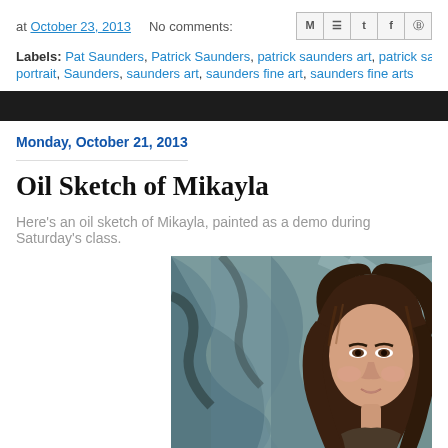at October 23, 2013   No comments:
Labels: Pat Saunders, Patrick Saunders, patrick saunders art, patrick sa..., portrait, Saunders, saunders art, saunders fine art, saunders fine arts
Monday, October 21, 2013
Oil Sketch of Mikayla
Here's an oil sketch of Mikayla, painted as a demo during Saturday's class.
[Figure (photo): Oil portrait sketch of a young woman (Mikayla) with long dark brown hair, painted in an impressionistic oil painting style with loose brushwork. Teal/grey abstract background. Subject faces slightly left with a calm expression.]